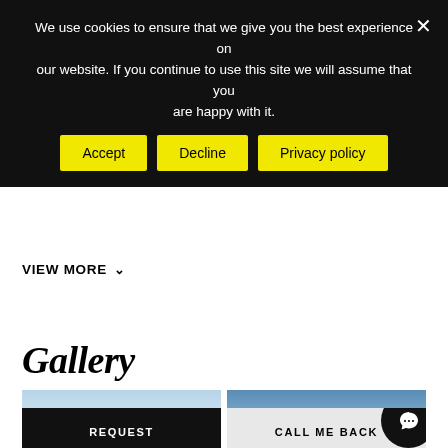We use cookies to ensure that we give you the best experience on our website. If you continue to use this site we will assume that you are happy with it.
Accept | Decline | Privacy policy
VIEW MORE
Gallery
[Figure (photo): Two gallery photos side by side: left shows blue sky, right shows a building against blue sky]
REQUEST
CALL ME BACK